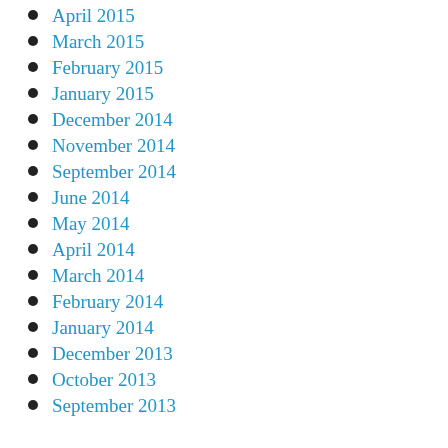April 2015
March 2015
February 2015
January 2015
December 2014
November 2014
September 2014
June 2014
May 2014
April 2014
March 2014
February 2014
January 2014
December 2013
October 2013
September 2013